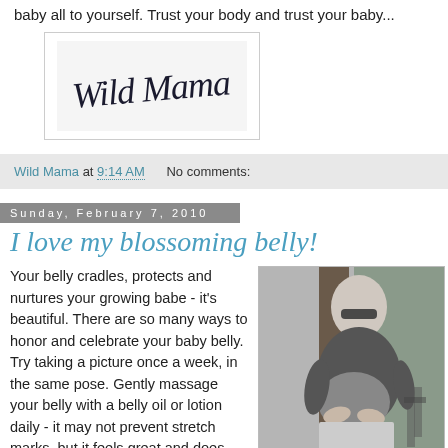baby all to yourself. Trust your body and trust your baby...
[Figure (logo): Wild Mama cursive script logo/signature in dark ink on light background]
Wild Mama at 9:14 AM   No comments:
Sunday, February 7, 2010
I love my blossoming belly!
Your belly cradles, protects and nurtures your growing babe - it's beautiful. There are so many ways to honor and celebrate your baby belly. Try taking a picture once a week, in the same pose. Gently massage your belly with a belly oil or lotion daily - it may not prevent stretch marks, but it feels great and does help with itchiness
[Figure (photo): Black and white photo of a smiling pregnant woman wearing sunglasses and a dark t-shirt, outdoors near a tree, showing her bare belly]